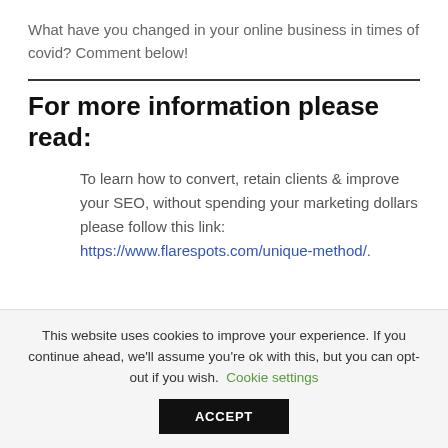What have you changed in your online business in times of covid? Comment below!
For more information please read:
To learn how to convert, retain clients & improve your SEO, without spending your marketing dollars please follow this link: https://www.flarespots.com/unique-method/.
This website uses cookies to improve your experience. If you continue ahead, we'll assume you're ok with this, but you can opt-out if you wish. Cookie settings ACCEPT